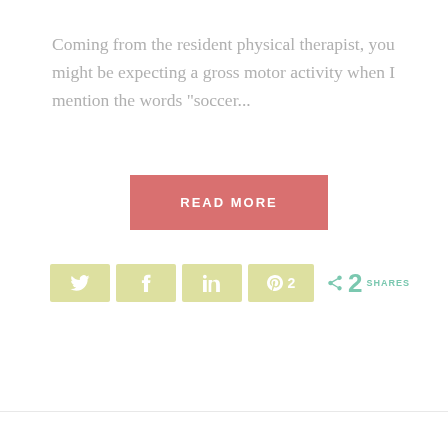Coming from the resident physical therapist, you might be expecting a gross motor activity when I mention the words "soccer...
READ MORE
[Figure (infographic): Social share buttons: Twitter, Facebook, LinkedIn, Pinterest (with count 2), and a share icon with '2 SHARES' label]